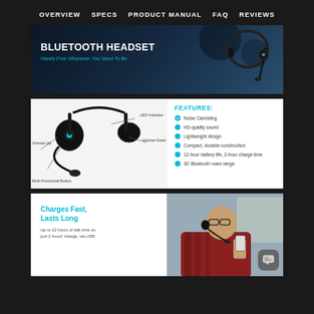OVERVIEW   SPECS   PRODUCT MANUAL   FAQ   REVIEWS
[Figure (photo): Bluetooth headset hero banner with dark blue background showing headset product image on right. Text reads 'BLUETOOTH HEADSET' and 'Hands-Free Whenever You Need To Be']
[Figure (illustration): Bluetooth headset product diagram with labeled parts: LED Indicator, Volume Up, Volume Down, Multi Functional Button (VONT brand). Features listed: Noise Canceling, HD-quality sound, Lightweight design, Compact durable construction, 12-hour battery life 2-hour charge time, 30' Bluetooth roam range]
[Figure (photo): Man wearing Bluetooth headset while driving a truck, holding a phone. Text overlay: 'Charges Fast, Lasts Long' and 'Up to 12 hours of talk time on just 2 hours charge, via USB.']